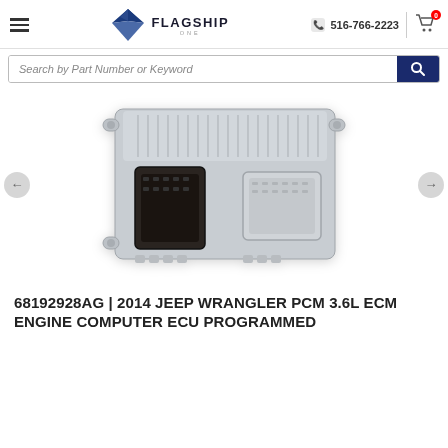Flagship One | 516-766-2223
Search by Part Number or Keyword
[Figure (photo): ECU / PCM engine computer module unit showing aluminum housing with two large multi-pin connectors, ribbed heat-sink fins on top, and mounting tabs at corners.]
68192928AG | 2014 JEEP WRANGLER PCM 3.6L ECM ENGINE COMPUTER ECU PROGRAMMED